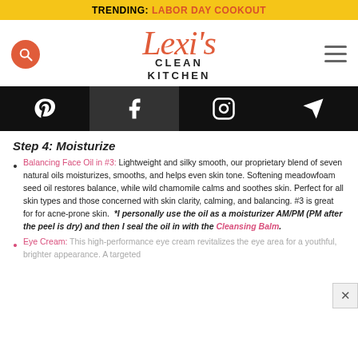TRENDING: LABOR DAY COOKOUT
[Figure (logo): Lexi's Clean Kitchen logo with search button and hamburger menu]
[Figure (infographic): Social media icon bar with Pinterest, Facebook, Instagram, and direct message icons on dark background]
Step 4: Moisturize
Balancing Face Oil in #3: Lightweight and silky smooth, our proprietary blend of seven natural oils moisturizes, smooths, and helps even skin tone. Softening meadowfoam seed oil restores balance, while wild chamomile calms and soothes skin. Perfect for all skin types and those concerned with skin clarity, calming, and balancing. #3 is great for for acne-prone skin. *I personally use the oil as a moisturizer AM/PM (PM after the peel is dry) and then I seal the oil in with the Cleansing Balm.
Eye Cream: This high-performance eye cream revitalizes the eye area for a youthful, brighter appearance. A targeted